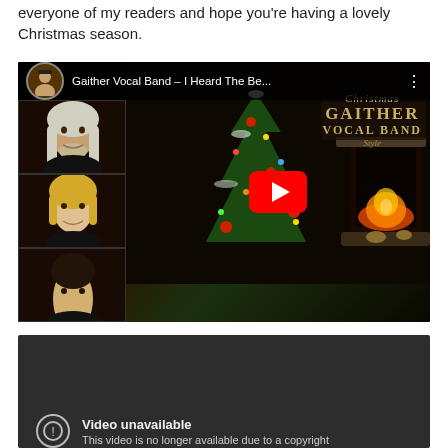everyone of my readers and hope you're having a lovely Christmas season.
[Figure (screenshot): YouTube embedded video player showing 'Gaither Vocal Band - I Heard The Be...' with Christmas album artwork featuring portrait photos of band members on the left, a Christmas tree with fireplace scene, 'GAITHER VOCAL BAND' text, and a red play button in the center.]
[Figure (screenshot): YouTube embedded video player showing a dark/unavailable video state with a warning icon and text 'Video unavailable - This video is no longer available due to a copyright']